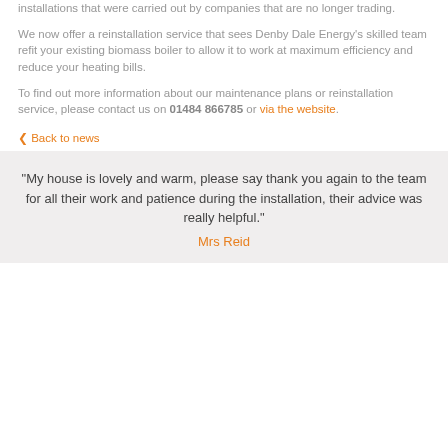installations that were carried out by companies that are no longer trading.
We now offer a reinstallation service that sees Denby Dale Energy's skilled team refit your existing biomass boiler to allow it to work at maximum efficiency and reduce your heating bills.
To find out more information about our maintenance plans or reinstallation service, please contact us on 01484 866785 or via the website.
⬅ Back to news
"My house is lovely and warm, please say thank you again to the team for all their work and patience during the installation, their advice was really helpful." Mrs Reid